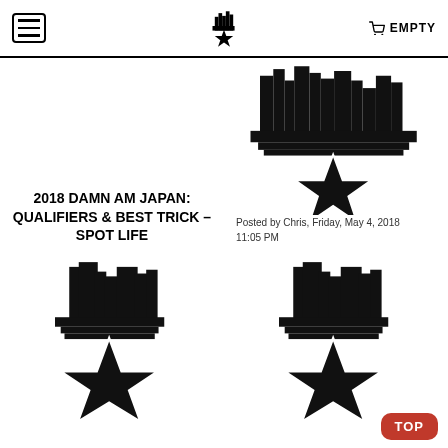☰ [Logo] EMPTY
[Figure (logo): Skyline with star logo (large, top right cell)]
Posted by Chris, Friday, May 4, 2018 11:05 PM
2018 DAMN AM JAPAN: QUALIFIERS & BEST TRICK – SPOT LIFE
2018 DAMN AM JAPAN: PRACTICE – SPOT LIFE
[Figure (logo): Skyline with star logo (bottom left cell)]
[Figure (logo): Skyline with star logo (bottom right cell)]